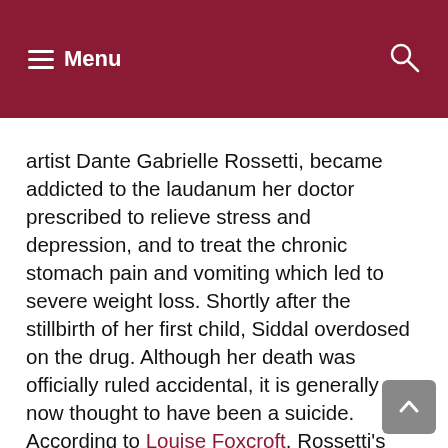Menu
artist Dante Gabrielle Rossetti, became addicted to the laudanum her doctor prescribed to relieve stress and depression, and to treat the chronic stomach pain and vomiting which led to severe weight loss. Shortly after the stillbirth of her first child, Siddal overdosed on the drug. Although her death was officially ruled accidental, it is generally now thought to have been a suicide. According to Louise Foxcroft, Rossetti's notoriously cruel behavior toward Siddal both before and after their marriage caused numerous rumors to spread that Rossetti had murdered her, while Oscar Wilde proclaimed that Rossetti had put the